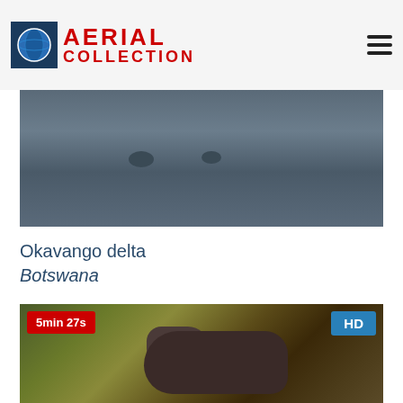AERIAL COLLECTION
[Figure (photo): Aerial view of hippos partially submerged in dark water of the Okavango delta, with ripples visible around them]
Okavango delta
Botswana
[Figure (photo): Aerial view of a hippo on a muddy bank, with badge showing 5min 27s duration and HD quality label]